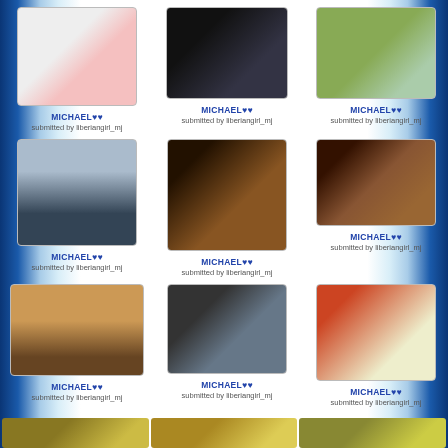[Figure (photo): Photo of woman with child in red dress - newspaper clipping style]
MICHAEL♥♥
submitted by liberiangirl_mj
[Figure (photo): Photo of two women together, dark background]
MICHAEL♥♥
submitted by liberiangirl_mj
[Figure (photo): Person standing outdoors with MJ World watermark]
MICHAEL♥♥
submitted by liberiangirl_mj
[Figure (photo): Michael Jackson in blue shirt posing outdoors on grass]
MICHAEL♥♥
submitted by liberiangirl_mj
[Figure (photo): Michael Jackson in hat, side profile close-up]
MICHAEL♥♥
submitted by liberiangirl_mj
[Figure (photo): Group of people at indoor gathering with plants]
MICHAEL♥♥
submitted by liberiangirl_mj
[Figure (photo): Person sitting at dinner table]
MICHAEL♥♥
submitted by liberiangirl_mj
[Figure (photo): Michael Jackson with another person in front of brick wall]
MICHAEL♥♥
submitted by liberiangirl_mj
[Figure (photo): Michael Jackson in red shirt playing with balloons]
MICHAEL♥♥
submitted by liberiangirl_mj